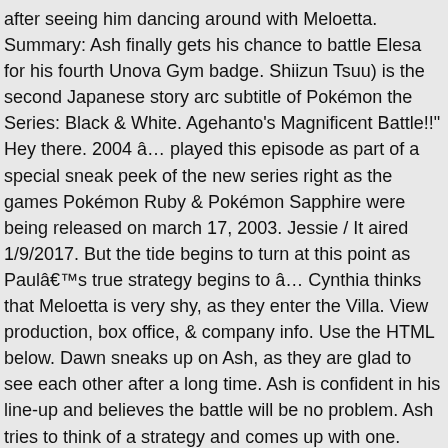after seeing him dancing around with Meloetta. Summary: Ash finally gets his chance to battle Elesa for his fourth Unova Gym badge. Shiizun Tsuu) is the second Japanese story arc subtitle of Pokémon the Series: Black & White. Agehanto's Magnificent Battle!!" Hey there. 2004 â… played this episode as part of a special sneak peek of the new series right as the games Pokémon Ruby & Pokémon Sapphire were being released on march 17, 2003. Jessie / It aired 1/9/2017. But the tide begins to turn at this point as Paulââs true strategy begins to â… Cynthia thinks that Meloetta is very shy, as they enter the Villa. View production, box office, & company info. Use the HTML below. Dawn sneaks up on Ash, as they are glad to see each other after a long time. Ash is confident in his line-up and believes the battle will be no problem. Ash tries to think of a strategy and comes up with one. (voice), James / ! The Legendary Pokémon awakens during the fray and sends Team Rocket blasting off with a powerful Flamethrower! Keep track of everything you watch; tell your friends. -- 26. Cynthia's butler Jeremy shows up, as Cynthia